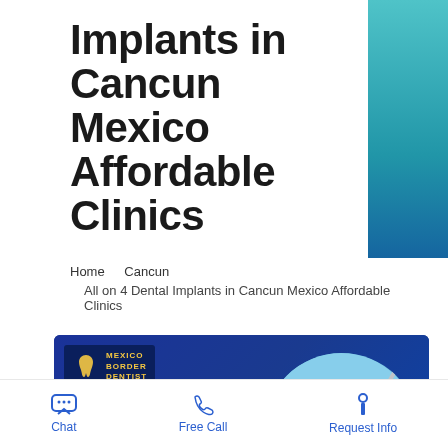Implants in Cancun Mexico Affordable Clinics
Home   Cancun
   All on 4 Dental Implants in Cancun Mexico Affordable Clinics
[Figure (photo): Banner image with blue background showing 'All on 4 Dental Implants in Cancun Mexico Affordable Clinics' text on left, Mexico Border Dentist logo top-left, and circular photo of dental implants and teeth on right.]
Chat   Free Call   Request Info